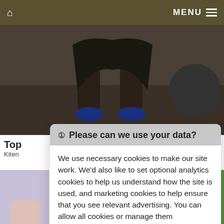🏠  MENU ☰
[Figure (photo): Person performing a squat exercise indoors, legs and feet visible, with a medicine ball in the background]
Top
Kiten
❶ Please can we use your data?
We use necessary cookies to make our site work. We'd also like to set optional analytics cookies to help us understand how the site is used, and marketing cookies to help ensure that you see relevant advertising. You can allow all cookies or manage them individually. More information
[Figure (photo): Partial view of a light purple/lavender background image on the left side]
[Figure (photo): Partial view of a green background on the right side]
[Figure (screenshot): Advertisement banner for Leibish jewellery showing gemstones: yellow-green pear drops, round white diamonds, blue oval sapphires, heart necklace, red oval ruby with prices $6,273, $32,147, $283,833, $960, $2,209,313]